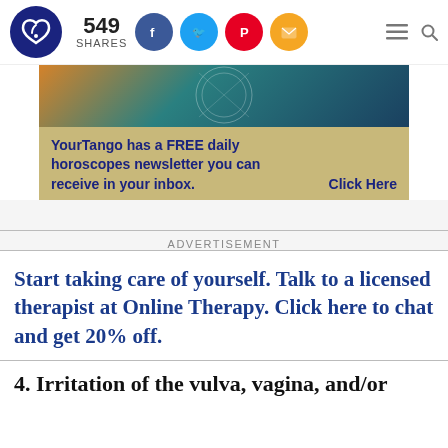549 SHARES
[Figure (other): YourTango advertisement banner showing zodiac wheel image and text: YourTango has a FREE daily horoscopes newsletter you can receive in your inbox. Click Here]
ADVERTISEMENT
Start taking care of yourself. Talk to a licensed therapist at Online Therapy. Click here to chat and get 20% off.
4. Irritation of the vulva, vagina, and/or